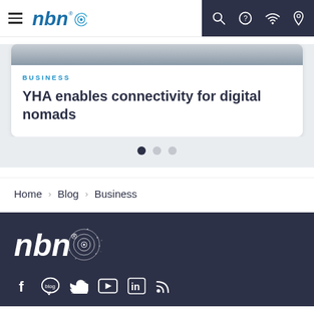nbn — navigation header with hamburger menu and icons
YHA enables connectivity for digital nomads
BUSINESS
Home > Blog > Business
[Figure (logo): nbn logo in white in dark footer]
[Figure (infographic): Social media icons: Facebook, Blog, Twitter, YouTube, LinkedIn, RSS]